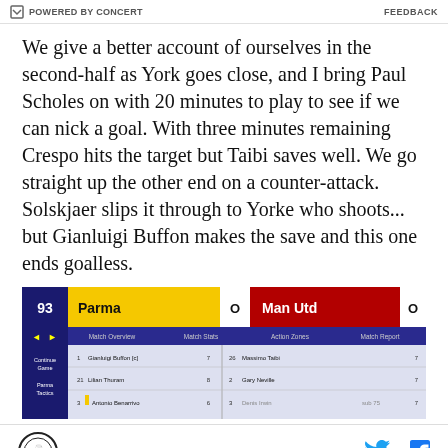POWERED BY CONCERT    FEEDBACK
We give a better account of ourselves in the second-half as York goes close, and I bring Paul Scholes on with 20 minutes to play to see if we can nick a goal. With three minutes remaining Crespo hits the target but Taibi saves well. We go straight up the other end on a counter-attack. Solskjaer slips it through to Yorke who shoots... but Gianluigi Buffon makes the save and this one ends goalless.
[Figure (screenshot): Football Manager game screenshot showing match result: Parma 0 - Man Utd 0 at 93 minutes, with player ratings table showing Gianluigi Buffon, Lilian Thuram, Antonio Benarrivo for Parma and Massimo Taibi, Gary Neville, Denis Irwin for Man Utd]
Social media share icons: Twitter and Facebook